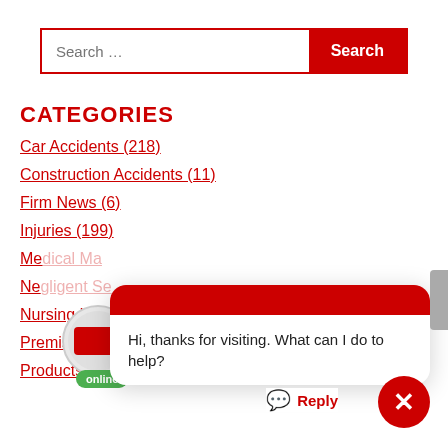[Figure (screenshot): Search bar with red border, text input placeholder 'Search ...' and red 'Search' button]
CATEGORIES
Car Accidents (218)
Construction Accidents (11)
Firm News (6)
Injuries (199)
Medical Malpractice [partially obscured]
Negligent Security [partially obscured]
Nursing Home Abuse And Neglect (44)
Premises Liability (24)
Products Liability (36)
[Figure (screenshot): Chat widget overlay with red header bar, message 'Hi, thanks for visiting. What can I do to help?', Google avatar with online badge, Reply button, and red close X button]